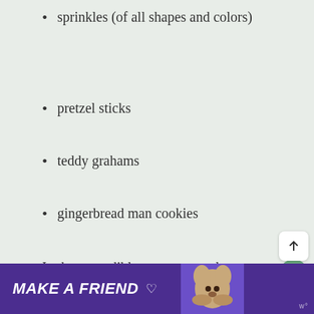sprinkles (of all shapes and colors)
pretzel sticks
teddy grahams
gingerbread man cookies
In the non-edible category, we love to place a big ribbon bow on top of each house!
We also make small bows to pass out to the kids to add to their houses. Tiny